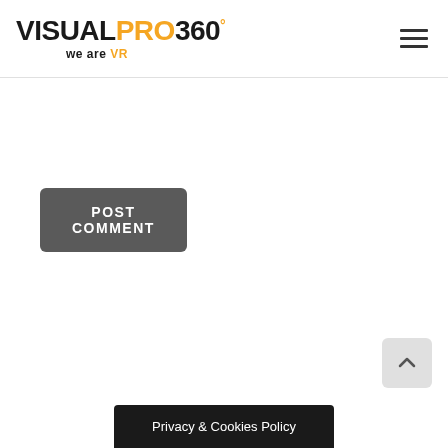VISUALPRO360° we are VR
POST COMMENT
[Figure (other): Back to top arrow button]
Privacy & Cookies Policy